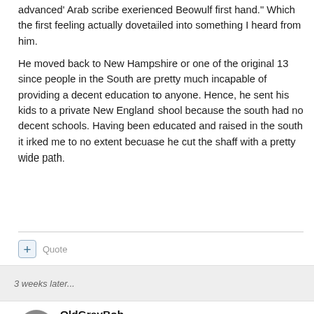advanced' Arab scribe exerienced Beowulf first hand." Which the first feeling actually dovetailed into something I heard from him.
He moved back to New Hampshire or one of the original 13 since people in the South are pretty much incapable of providing a decent education to anyone. Hence, he sent his kids to a private New England shool because the south had no decent schools. Having been educated and raised in the south it irked me to no extent becuase he cut the shaff with a pretty wide path.
+ Quote
3 weeks later...
OldGrayBob
Posted January 5, 2005
I highly suggest that a critically thinking person get a hold of a copy of the book "State of Fear", not for the novel – which I find